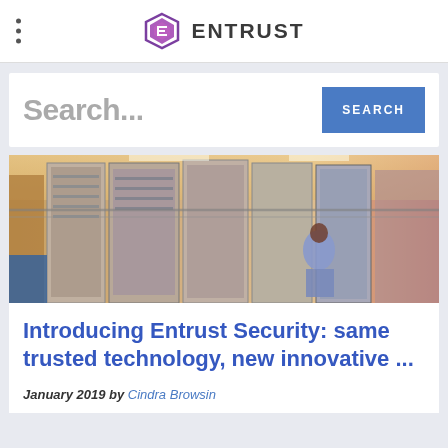ENTRUST
Search...
[Figure (photo): A data center corridor with server racks and a person walking away from the camera]
Introducing Entrust Security: same trusted technology, new innovative ...
January 2019 by Cindra Browsin